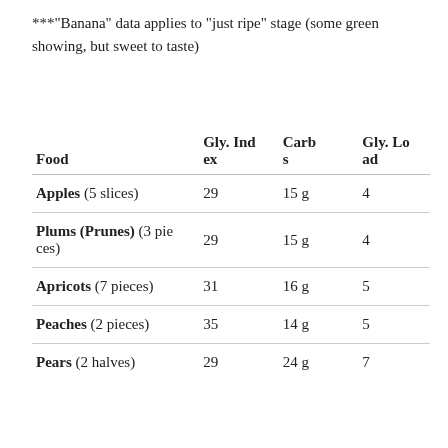***"Banana" data applies to "just ripe" stage (some green showing, but sweet to taste)
| Food | Gly. Index | Carbs | Gly. Load |
| --- | --- | --- | --- |
| Apples (5 slices) | 29 | 15 g | 4 |
| Plums (Prunes) (3 pieces) | 29 | 15 g | 4 |
| Apricots (7 pieces) | 31 | 16 g | 5 |
| Peaches (2 pieces) | 35 | 14 g | 5 |
| Pears (2 halves) | 29 | 24 g | 7 |